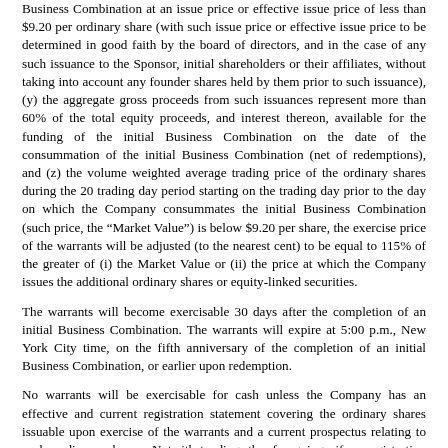Business Combination at an issue price or effective issue price of less than $9.20 per ordinary share (with such issue price or effective issue price to be determined in good faith by the board of directors, and in the case of any such issuance to the Sponsor, initial shareholders or their affiliates, without taking into account any founder shares held by them prior to such issuance), (y) the aggregate gross proceeds from such issuances represent more than 60% of the total equity proceeds, and interest thereon, available for the funding of the initial Business Combination on the date of the consummation of the initial Business Combination (net of redemptions), and (z) the volume weighted average trading price of the ordinary shares during the 20 trading day period starting on the trading day prior to the day on which the Company consummates the initial Business Combination (such price, the “Market Value”) is below $9.20 per share, the exercise price of the warrants will be adjusted (to the nearest cent) to be equal to 115% of the greater of (i) the Market Value or (ii) the price at which the Company issues the additional ordinary shares or equity-linked securities.
The warrants will become exercisable 30 days after the completion of an initial Business Combination. The warrants will expire at 5:00 p.m., New York City time, on the fifth anniversary of the completion of an initial Business Combination, or earlier upon redemption.
No warrants will be exercisable for cash unless the Company has an effective and current registration statement covering the ordinary shares issuable upon exercise of the warrants and a current prospectus relating to such ordinary shares. Notwithstanding the foregoing, if a registration statement covering the ordinary shares issuable upon exercise of the warrants is not effective within a specified period following the consummation of the initial Business Combination, warrant holders may, until such time as there is an effective